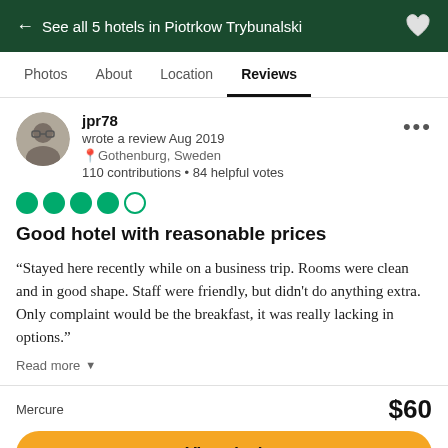← See all 5 hotels in Piotrkow Trybunalski
Photos  About  Location  Reviews
jpr78
wrote a review Aug 2019
Gothenburg, Sweden
110 contributions • 84 helpful votes
[Figure (other): 4 out of 5 filled green circles representing star rating]
Good hotel with reasonable prices
“Stayed here recently while on a business trip. Rooms were clean and in good shape. Staff were friendly, but didn't do anything extra. Only complaint would be the breakfast, it was really lacking in options.”
Read more
Mercure
$60
View deal